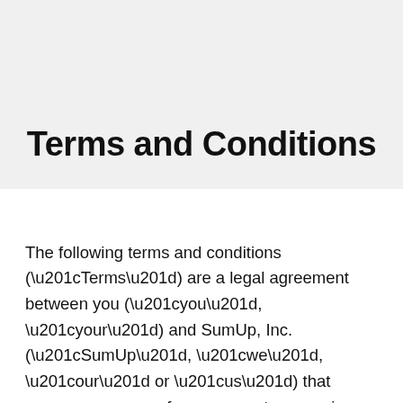Terms and Conditions
The following terms and conditions (“Terms”) are a legal agreement between you (“you”, “your”) and SumUp, Inc. (“SumUp”, “we”, “our” or “us”) that governs your use of our payment processing and other services, our website, our mobile application, and any version of our card acceptance devices (collectively, the “Services”).  By using the Services, you represent that you have read and accept these Terms.